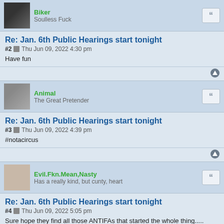Biker
Soulless Fuck
Re: Jan. 6th Public Hearings start tonight
#2  Thu Jun 09, 2022 4:30 pm
Have fun
Animal
The Great Pretender
Re: Jan. 6th Public Hearings start tonight
#3  Thu Jun 09, 2022 4:39 pm
#notacircus
Evil.Fkn.Mean,Nasty
Has a really kind, but cunty, heart
Re: Jan. 6th Public Hearings start tonight
#4  Thu Jun 09, 2022 5:05 pm
Sure hope they find all those ANTIFAs that started the whole thing.....